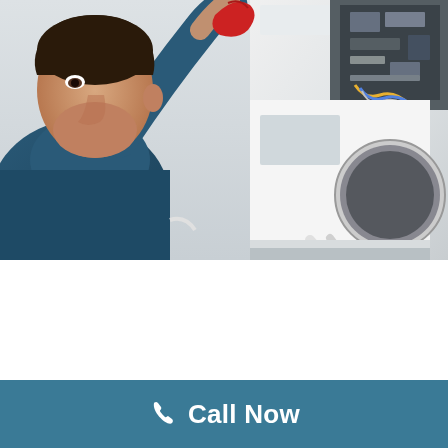[Figure (photo): A technician wearing red gloves and a blue shirt leans over and inspects the internal components of a white appliance (washing machine or similar), with wires and mechanical parts visible.]
REPAIRS
Many important brands are given tree search us their trust.
Call Now